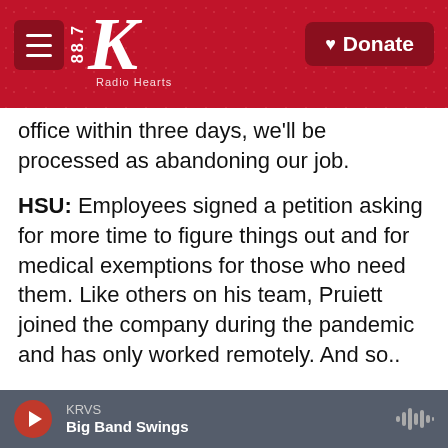KRVS 88.7 Radio Hearts — Donate
office within three days, we'll be processed as abandoning our job.
HSU: Employees signed a petition asking for more time to figure things out and for medical exemptions for those who need them. Like others on his team, Pruiett joined the company during the pandemic and has only worked remotely. And so..
PRUIETT: It's not making a lot of sense to us workers. Nothing will change other than, you know, having a couple snacks in our office and having an in-person meeting.
KRVS — Big Band Swings